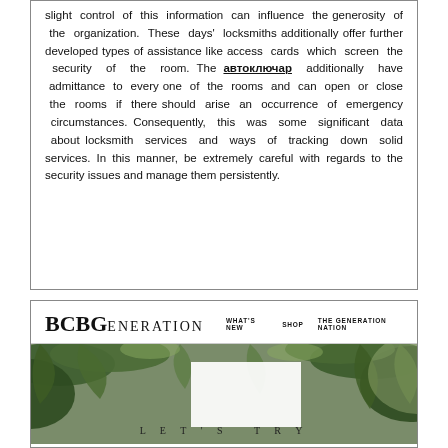slight control of this information can influence the generosity of the organization. These days' locksmiths additionally offer further developed types of assistance like access cards which screen the security of the room. The автоключар additionally have admittance to every one of the rooms and can open or close the rooms if there should arise an occurrence of emergency circumstances. Consequently, this was some significant data about locksmith services and ways of tracking down solid services. In this manner, be extremely careful with regards to the security issues and manage them persistently.
[Figure (screenshot): BCBGeneration website screenshot showing logo, navigation links (WHAT'S NEW, SHOP, THE GENERATION NATION), and a tropical plant background image with a white card overlay and text 'LET'S TRY']